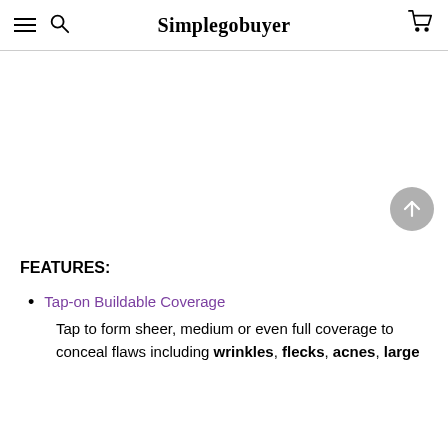Simplegobuyer
FEATURES:
Tap-on Buildable Coverage
Tap to form sheer, medium or even full coverage to conceal flaws including wrinkles, flecks, acnes, large